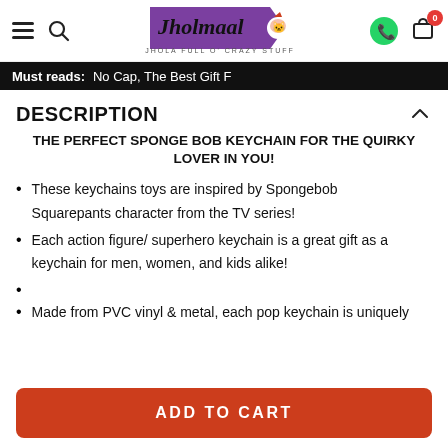Jholmaal – JHOLA FULL O' CRAZY STUFF
Must reads: No Cap, The Best Gift F…
DESCRIPTION
THE PERFECT SPONGE BOB KEYCHAIN FOR THE QUIRKY LOVER IN YOU!
These keychains toys are inspired by Spongebob Squarepants character from the TV series!
Each action figure/ superhero keychain is a great gift as a keychain for men, women, and kids alike!
Made from PVC vinyl & metal, each pop keychain is uniquely
ADD TO CART